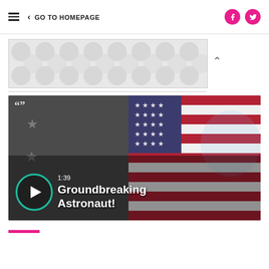≡  < GO TO HOMEPAGE
[Figure (screenshot): Ad banner with gray polka dot pattern background]
[Figure (photo): Video thumbnail showing a woman astronaut in blue NASA jumpsuit giving thumbs up in front of US flag, with teal play button and overlay text '1:39 Groundbreaking Astronaut!']